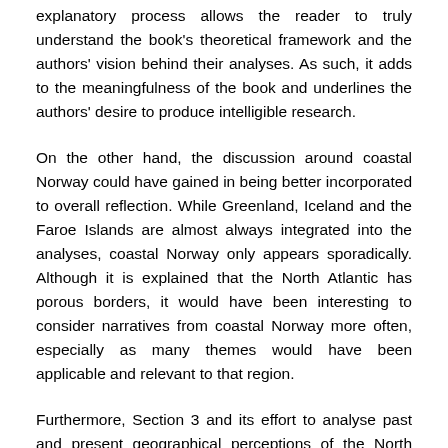explanatory process allows the reader to truly understand the book's theoretical framework and the authors' vision behind their analyses. As such, it adds to the meaningfulness of the book and underlines the authors' desire to produce intelligible research.
On the other hand, the discussion around coastal Norway could have gained in being better incorporated to overall reflection. While Greenland, Iceland and the Faroe Islands are almost always integrated into the analyses, coastal Norway only appears sporadically. Although it is explained that the North Atlantic has porous borders, it would have been interesting to consider narratives from coastal Norway more often, especially as many themes would have been applicable and relevant to that region.
Furthermore, Section 3 and its effort to analyse past and present geographical perceptions of the North Atlantic is underwhelming. Indeed, part of the development seems